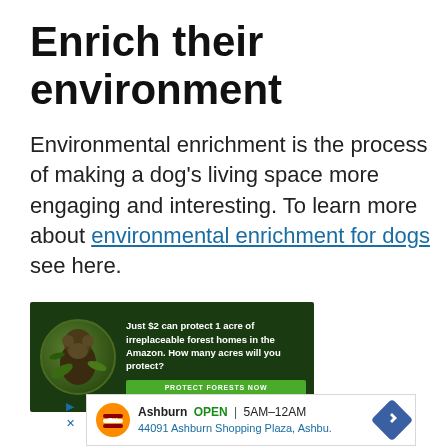Enrich their environment
Environmental enrichment is the process of making a dog’s living space more engaging and interesting. To learn more about environmental enrichment for dogs see here.
[Figure (photo): Advertisement banner with dark green forest background showing a primate/monkey in a circular inset. Text reads: 'Just $2 can protect 1 acre of irreplaceable forest homes in the Amazon. How many acres will you protect?' with a green 'PROTECT FORESTS NOW' button.]
[Figure (infographic): Google ad for Burger King showing logo, 'Ashburn OPEN 5AM-12AM', '44091 Ashburn Shopping Plaza, Ashbu.' with a blue diamond navigation arrow icon.]